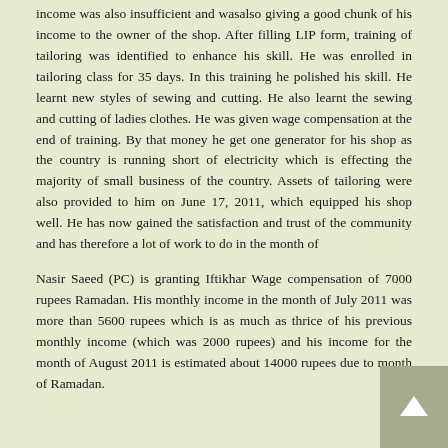income was also insufficient and wasalso giving a good chunk of his income to the owner of the shop. After filling LIP form, training of tailoring was identified to enhance his skill. He was enrolled in tailoring class for 35 days. In this training he polished his skill. He learnt new styles of sewing and cutting. He also learnt the sewing and cutting of ladies clothes. He was given wage compensation at the end of training. By that money he get one generator for his shop as the country is running short of electricity which is effecting the majority of small business of the country. Assets of tailoring were also provided to him on June 17, 2011, which equipped his shop well. He has now gained the satisfaction and trust of the community and has therefore a lot of work to do in the month of
Nasir Saeed (PC) is granting Iftikhar Wage compensation of 7000 rupees Ramadan. His monthly income in the month of July 2011 was more than 5600 rupees which is as much as thrice of his previous monthly income (which was 2000 rupees) and his income for the month of August 2011 is estimated about 14000 rupees due to month of Ramadan.